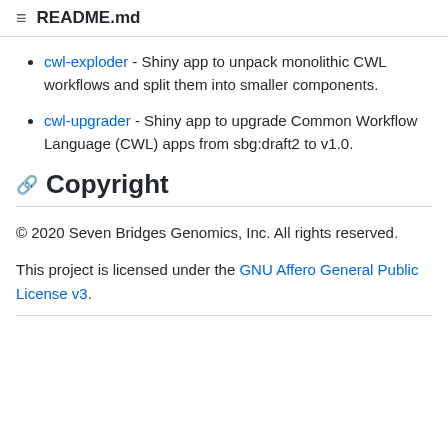README.md
cwl-exploder - Shiny app to unpack monolithic CWL workflows and split them into smaller components.
cwl-upgrader - Shiny app to upgrade Common Workflow Language (CWL) apps from sbg:draft2 to v1.0.
Copyright
© 2020 Seven Bridges Genomics, Inc. All rights reserved.
This project is licensed under the GNU Affero General Public License v3.